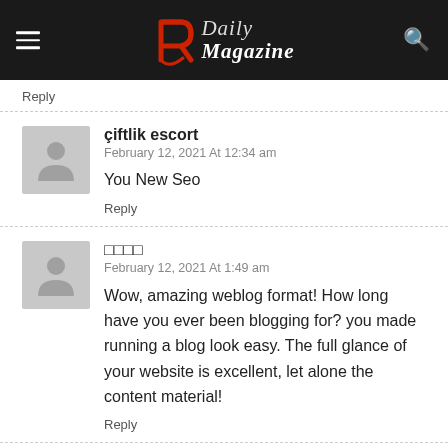R Daily Magazine
Reply
çiftlik escort
February 12, 2021 At 12:34 am
You New Seo
Reply
□□□□
February 12, 2021 At 1:49 am
Wow, amazing weblog format! How long have you ever been blogging for? you made running a blog look easy. The full glance of your website is excellent, let alone the content material!
Reply
Detroit Style Pizza Hut